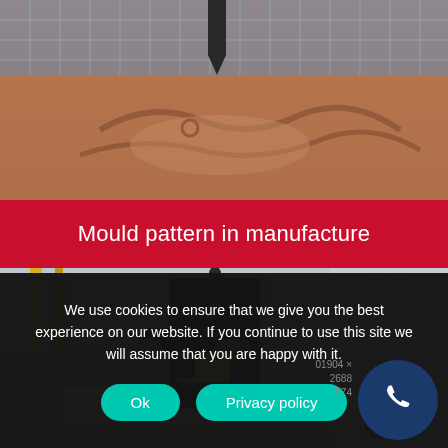[Figure (photo): Close-up of a CNC milling machine cutting a mould pattern in a brown/terracotta foam or clay material, with a drill bit visible at the top center]
Mould pattern in manufacture
[Figure (photo): A worker using a handheld power tool (yellow and black) to work on a light-colored wooden or foam block, with a robotic arm visible on the right side in a workshop setting]
We use cookies to ensure that we give you the best experience on our website. If you continue to use this site we will assume that you are happy with it.
Ok   Privacy policy